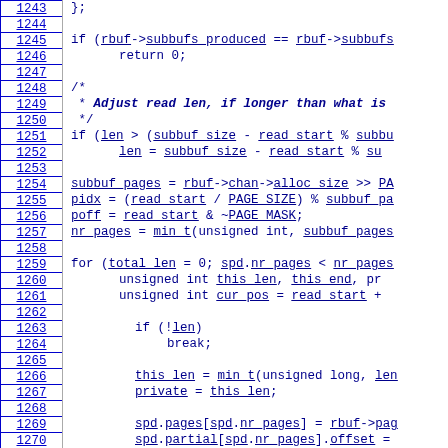[Figure (screenshot): Source code listing with line numbers 1243-1272 showing C kernel code for a ring buffer reader function. Code includes conditionals, for loop, and variable assignments with hyperlinked identifiers.]